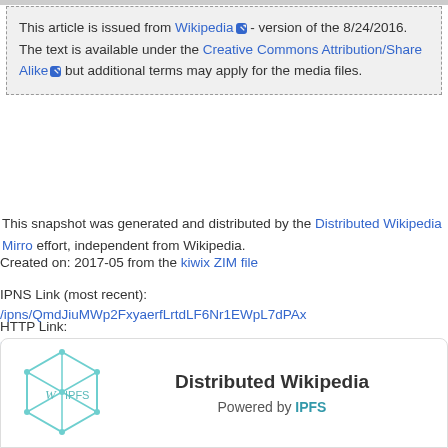This article is issued from Wikipedia - version of the 8/24/2016. The text is available under the Creative Commons Attribution/Share Alike but additional terms may apply for the media files.
This snapshot was generated and distributed by the Distributed Wikipedia Mirro effort, independent from Wikipedia.
Created on: 2017-05 from the kiwix ZIM file
IPNS Link (most recent): /ipns/QmdJiuMWp2FxyaerfLrtdLF6Nr1EWpL7dPAx
HTTP Link: https://bafybeiemxf5abjwjbikoz4mc3a3dla6ual3jsgpdr4cjr3oz3evfy
Download IPFS Here
[Figure (logo): Distributed Wikipedia Powered by IPFS logo card with IPFS hexagonal cube icon on the left and text 'Distributed Wikipedia Powered by IPFS' on the right]